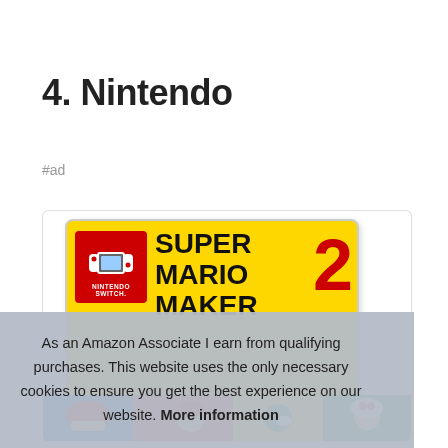4. Nintendo
#ad
[Figure (photo): Nintendo Switch game cartridge case for Super Mario Maker 2, yellow box with red Nintendo Switch logo in top-left corner, large black text reading SUPER MARIO MAKER and a large red number 2]
As an Amazon Associate I earn from qualifying purchases. This website uses the only necessary cookies to ensure you get the best experience on our website. More information